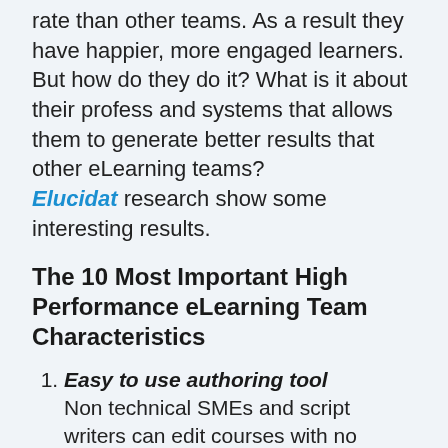deliver high quality projects at a much higher rate than other teams. As a result they have happier, more engaged learners. But how do they do it? What is it about their profess and systems that allows them to generate better results that other eLearning teams? Elucidat research show some interesting results.
The 10 Most Important High Performance eLearning Team Characteristics
Easy to use authoring tool — Non technical SMEs and script writers can edit courses with no training.
Infinite creative possibilities